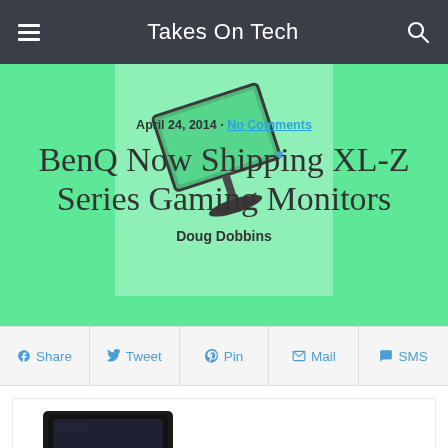Takes On Tech
[Figure (photo): BenQ XL-Z series gaming monitor shown at an angle against a light green background]
April 24, 2014 · No Comments
BenQ Now Shipping XL-Z Series Gaming Monitors
Doug Dobbins
Share  Tweet  Pin  Mail  SMS
[Figure (photo): BenQ gaming monitor with black stand photographed from front-left angle]